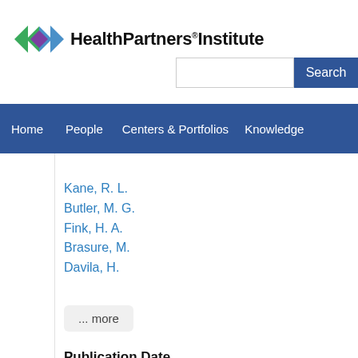HealthPartners Institute
Kane, R. L.
Butler, M. G.
Fink, H. A.
Brasure, M.
Davila, H.
... more
Publication Date
2017